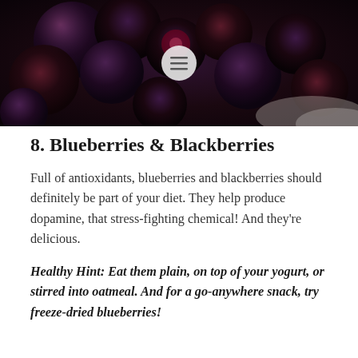[Figure (photo): Close-up photograph of blackberries in a bowl, dark background with rich purple-black berry colors. A circular menu button icon is overlaid in the center.]
8. Blueberries & Blackberries
Full of antioxidants, blueberries and blackberries should definitely be part of your diet. They help produce dopamine, that stress-fighting chemical! And they're delicious.
Healthy Hint: Eat them plain, on top of your yogurt, or stirred into oatmeal. And for a go-anywhere snack, try freeze-dried blueberries!